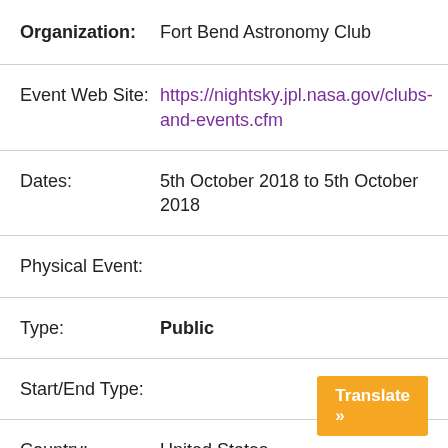Organization: Fort Bend Astronomy Club
Event Web Site: https://nightsky.jpl.nasa.gov/clubs-and-events.cfm
Dates: 5th October 2018 to 5th October 2018
Physical Event:
Type: Public
Start/End Type:
Country: United States